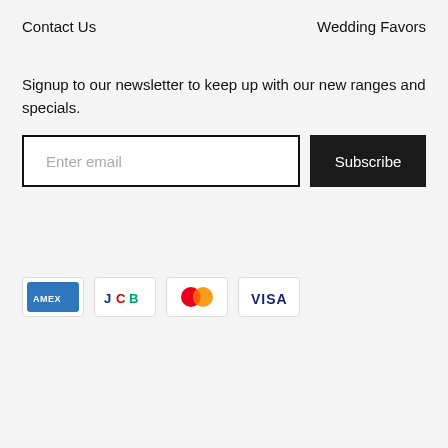Contact Us
Wedding Favors
Signup to our newsletter to keep up with our new ranges and specials.
[Figure (other): Email newsletter signup form with text input field labeled 'Enter email' and a black Subscribe button]
[Figure (other): Payment method icons: American Express (AMEX), JCB, Mastercard, Visa]